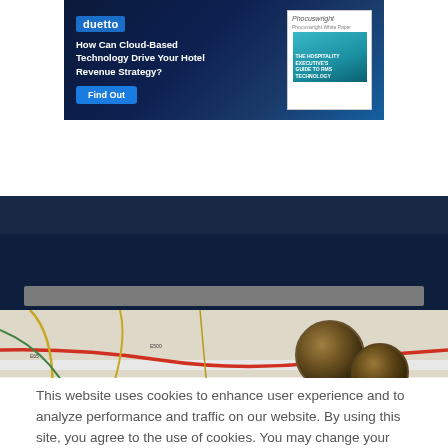[Figure (infographic): Duetto advertisement banner: dark blue background with 'duetto' logo in blue button, headline 'How Can Cloud-Based Technology Drive Your Hotel Revenue Strategy?', 'Find Out' button, and Phocuswright white paper book cover on right]
[Figure (logo): PhocusWire logo in white and orange/red on dark navy navigation bar, with hamburger menu on left and search icon on right]
[Figure (photo): Road map with coins placed on top, visible road network in background]
This website uses cookies to enhance user experience and to analyze performance and traffic on our website. By using this site, you agree to the use of cookies. You may change your cookie settings at any time, but the site may not function